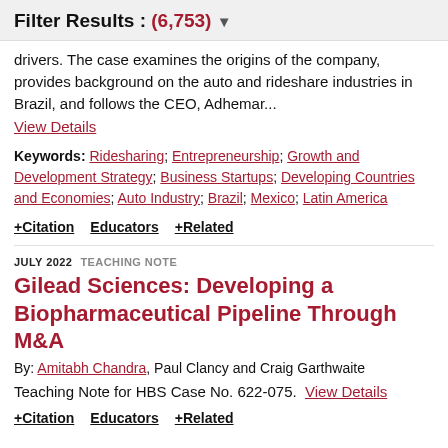Filter Results : (6,753) ▼
drivers. The case examines the origins of the company, provides background on the auto and rideshare industries in Brazil, and follows the CEO, Adhemar...
View Details
Keywords: Ridesharing; Entrepreneurship; Growth and Development Strategy; Business Startups; Developing Countries and Economies; Auto Industry; Brazil; Mexico; Latin America
+ Citation   Educators   + Related
JULY 2022  TEACHING NOTE
Gilead Sciences: Developing a Biopharmaceutical Pipeline Through M&A
By: Amitabh Chandra, Paul Clancy and Craig Garthwaite
Teaching Note for HBS Case No. 622-075.  View Details
+ Citation   Educators   + Related